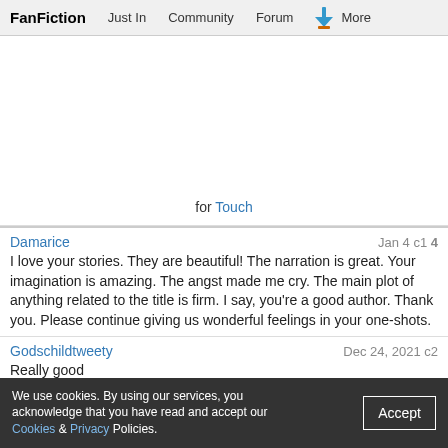FanFiction  Just In  Community  Forum  More
for Touch
Damarice  Jan 4 c1 4
I love your stories. They are beautiful! The narration is great. Your imagination is amazing. The angst made me cry. The main plot of anything related to the title is firm. I say, you're a good author. Thank you. Please continue giving us wonderful feelings in your one-shots.
Godschildtweety  Dec 24, 2021 c2
Really good
nalulover00432  May 13, 2021 c3
This really pulled at my heartstrings
nalulover00432  May 13, 2021 c1
So cute! Almost made me cry
Connerreign12  Jan 2, 2021 c2
We use cookies. By using our services, you acknowledge that you have read and accept our Cookies & Privacy Policies.